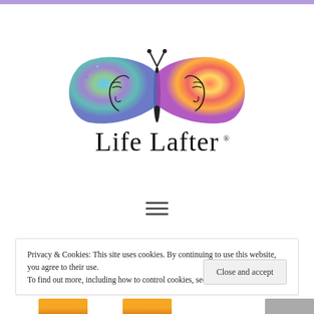[Figure (logo): Life Lafter logo with a colorful watercolor butterfly whose wings incorporate two human faces, with the text 'Life Lafter®' in script below]
[Figure (other): Hamburger menu icon (three horizontal lines)]
Privacy & Cookies: This site uses cookies. By continuing to use this website, you agree to their use. To find out more, including how to control cookies, see here: Cookie Policy
MONTHLY ARCHIVES: AUGUST 2020
Close and accept